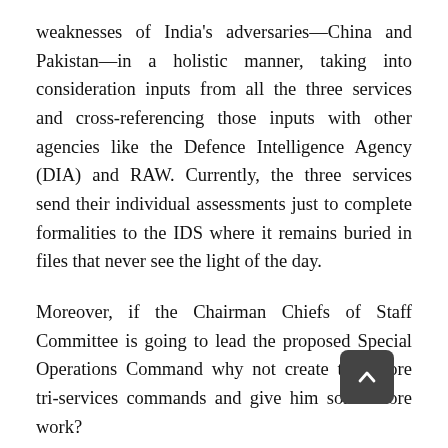weaknesses of India's adversaries—China and Pakistan—in a holistic manner, taking into consideration inputs from all the three services and cross-referencing those inputs with other agencies like the Defence Intelligence Agency (DIA) and RAW. Currently, the three services send their individual assessments just to complete formalities to the IDS where it remains buried in files that never see the light of the day.
Moreover, if the Chairman Chiefs of Staff Committee is going to lead the proposed Special Operations Command why not create two more tri-services commands and give him some more work?